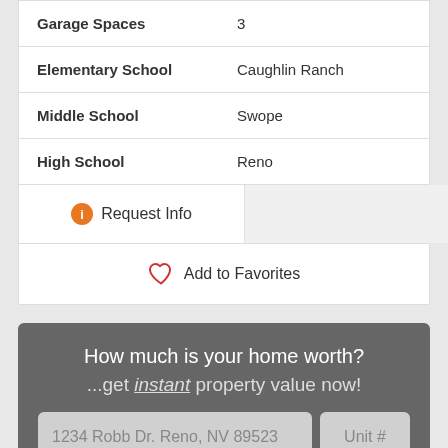| Property | Value |
| --- | --- |
| Garage Spaces | 3 |
| Elementary School | Caughlin Ranch |
| Middle School | Swope |
| High School | Reno |
Request Info
Add to Favorites
How much is your home worth? ...get instant property value now!
1234 Robb Dr. Reno, NV 89523
Unit #